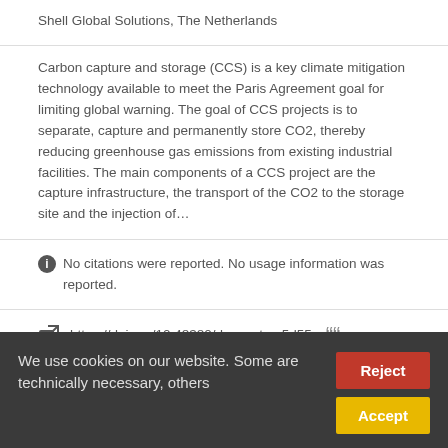Shell Global Solutions, The Netherlands
Carbon capture and storage (CCS) is a key climate mitigation technology available to meet the Paris Agreement goal for limiting global warning. The goal of CCS projects is to separate, capture and permanently store CO2, thereby reducing greenhouse gas emissions from existing industrial facilities. The main components of a CCS project are the capture infrastructure, the transport of the CO2 to the storage site and the injection of...
No citations were reported. No usage information was reported.
https://doi.org/10.48380/dggv-wtya-5d55 Cite
We use cookies on our website. Some are technically necessary, others help us to improve the user experience and others are used for marketing.